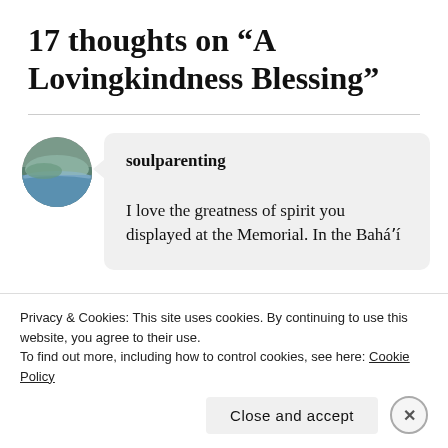17 thoughts on “A Lovingkindness Blessing”
soulparenting
I love the greatness of spirit you displayed at the Memorial. In the Baháʼí
Privacy & Cookies: This site uses cookies. By continuing to use this website, you agree to their use.
To find out more, including how to control cookies, see here: Cookie Policy
Close and accept